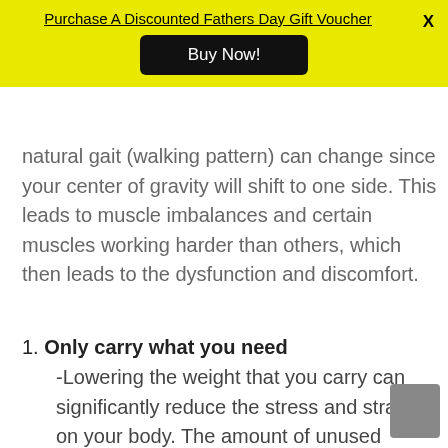Purchase A Discounted Fathers Day Gift Voucher
natural gait (walking pattern) can change since your center of gravity will shift to one side. This leads to muscle imbalances and certain muscles working harder than others, which then leads to the dysfunction and discomfort.
1. Only carry what you need
-Lowering the weight that you carry can significantly reduce the stress and strain on your body. The amount of unused contents in our bags can be surprising sometimes. Plan ahead and know what